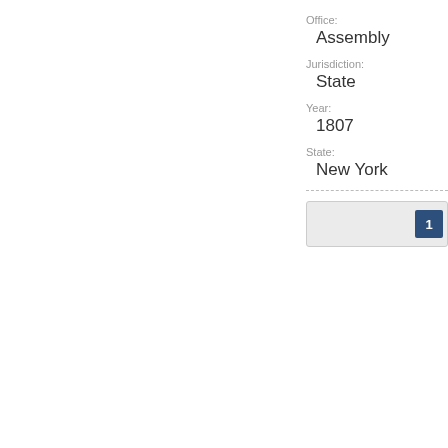Office:
Assembly
Jurisdiction:
State
Year:
1807
State:
New York
| 1 |
| --- |
|  |